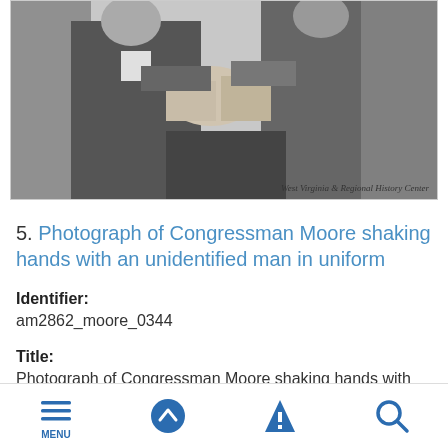[Figure (photo): Black and white photograph of Congressman Moore shaking hands with an unidentified man in uniform. The image has a 'West Virginia & Regional History Center' watermark at the bottom right.]
5. Photograph of Congressman Moore shaking hands with an unidentified man in uniform
Identifier:
am2862_moore_0344
Title:
Photograph of Congressman Moore shaking hands with an unidentified man in uniform